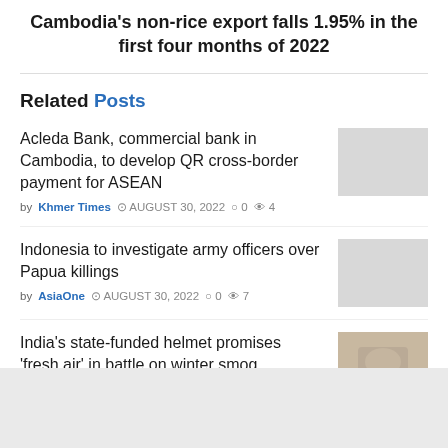Cambodia's non-rice export falls 1.95% in the first four months of 2022
Related Posts
Acleda Bank, commercial bank in Cambodia, to develop QR cross-border payment for ASEAN
by Khmer Times  AUGUST 30, 2022  0  4
Indonesia to investigate army officers over Papua killings
by AsiaOne  AUGUST 30, 2022  0  7
India's state-funded helmet promises 'fresh air' in battle on winter smog